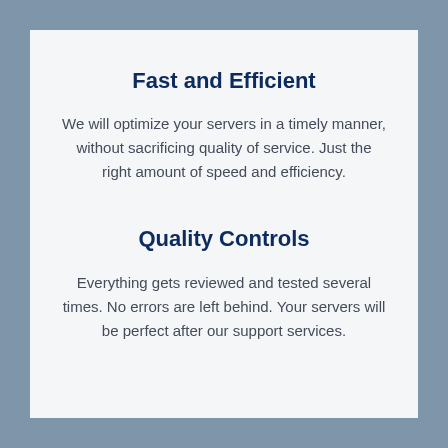Fast and Efficient
We will optimize your servers in a timely manner, without sacrificing quality of service. Just the right amount of speed and efficiency.
Quality Controls
Everything gets reviewed and tested several times. No errors are left behind. Your servers will be perfect after our support services.